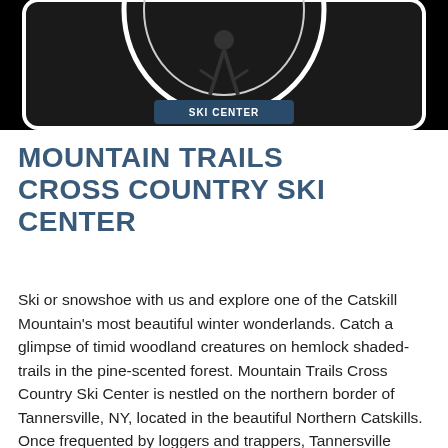[Figure (logo): Partial view of a circular ski center logo/emblem on a black background, showing the bottom portion of a circular badge with a skier silhouette inside.]
MOUNTAIN TRAILS CROSS COUNTRY SKI CENTER
Ski or snowshoe with us and explore one of the Catskill Mountain's most beautiful winter wonderlands. Catch a glimpse of timid woodland creatures on hemlock shaded-trails in the pine-scented forest. Mountain Trails Cross Country Ski Center is nestled on the northern border of Tannersville, NY, located in the beautiful Northern Catskills. Once frequented by loggers and trappers, Tannersville drew its name from the many tanneries that once flourished the area. Keeping with the belief that natural resources are one of our greatest assets, Mountain Trails is environmentally compatible with the